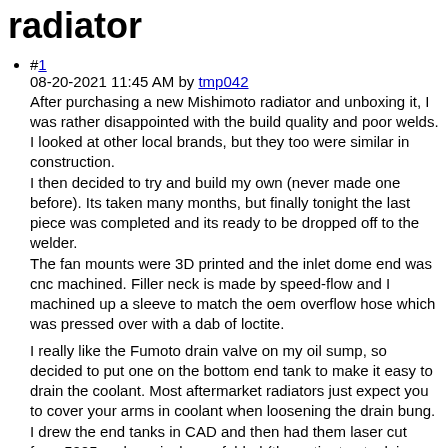radiator
#1
08-20-2021 11:45 AM by tmp042
After purchasing a new Mishimoto radiator and unboxing it, I was rather disappointed with the build quality and poor welds. I looked at other local brands, but they too were similar in construction.
I then decided to try and build my own (never made one before). Its taken many months, but finally tonight the last piece was completed and its ready to be dropped off to the welder.
The fan mounts were 3D printed and the inlet dome end was cnc machined. Filler neck is made by speed-flow and I machined up a sleeve to match the oem overflow hose which was pressed over with a dab of loctite.

I really like the Fumoto drain valve on my oil sump, so decided to put one on the bottom end tank to make it easy to drain the coolant. Most aftermarket radiators just expect you to cover your arms in coolant when loosening the drain bung.
I drew the end tanks in CAD and then had them laser cut from 5005 and precisely cnc folded (the entire top tank is